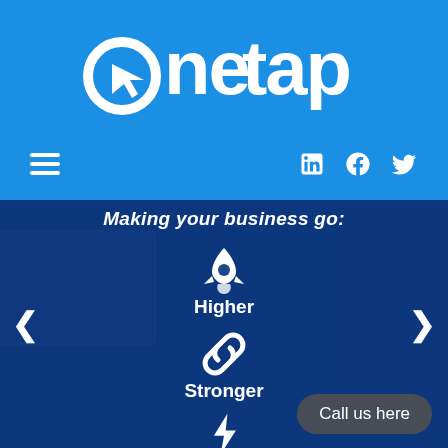[Figure (logo): OneTap logo in white text on bright blue background with a stylized circle-arrow icon]
≡  LinkedIn  Facebook  Twitter
Making your business go:
[Figure (infographic): Three feature icons with labels: rocket icon = Higher, chain links icon = Stronger, lightning bolt icon = Faster. Navigation arrows on left and right. 'Call us here' CTA button bottom right.]